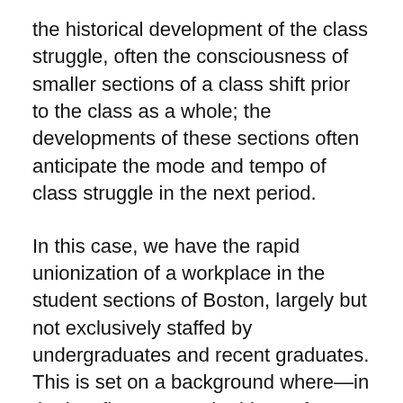the historical development of the class struggle, often the consciousness of smaller sections of a class shift prior to the class as a whole; the developments of these sections often anticipate the mode and tempo of class struggle in the next period.
In this case, we have the rapid unionization of a workplace in the student sections of Boston, largely but not exclusively staffed by undergraduates and recent graduates. This is set on a background where—in the last five years—the ideas of socialism and unionism have become widely accepted by the youth, not least because of the appeal of the Sanders campaigns.
That is to say, the ideas of class struggle and